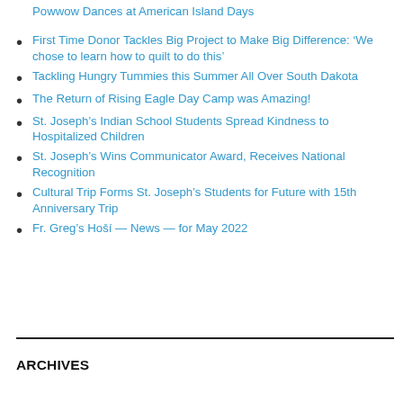Powwow Dances at American Island Days
First Time Donor Tackles Big Project to Make Big Difference: ‘We chose to learn how to quilt to do this’
Tackling Hungry Tummies this Summer All Over South Dakota
The Return of Rising Eagle Day Camp was Amazing!
St. Joseph’s Indian School Students Spread Kindness to Hospitalized Children
St. Joseph’s Wins Communicator Award, Receives National Recognition
Cultural Trip Forms St. Joseph’s Students for Future with 15th Anniversary Trip
Fr. Greg’s Hoší — News — for May 2022
ARCHIVES